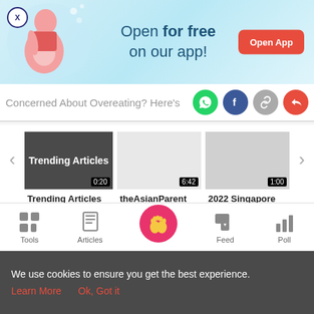[Figure (illustration): App promotional banner with pregnant woman illustration, text 'Open for free on our app!' and 'Open App' button]
Concerned About Overeating? Here's
[Figure (screenshot): Video carousel with Trending Articles (0:20), theAsianParent Reviews (6:42), 2022 Singapore Parenting (1:00)]
Tools | Articles | Feed | Poll navigation bar
We use cookies to ensure you get the best experience. Learn More  Ok, Got it